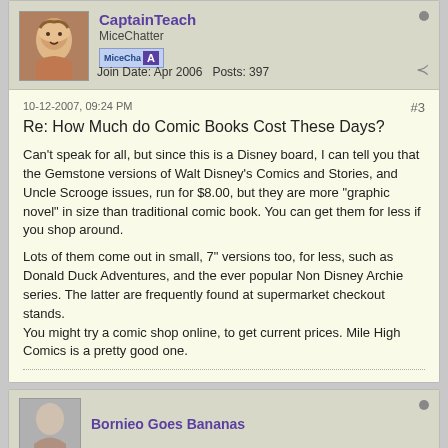CaptainTeach
MiceChatter
Join Date: Apr 2006   Posts: 397
10-12-2007, 09:24 PM
#3
Re: How Much do Comic Books Cost These Days?
Can't speak for all, but since this is a Disney board, I can tell you that the Gemstone versions of Walt Disney's Comics and Stories, and Uncle Scrooge issues, run for $8.00, but they are more "graphic novel" in size than traditional comic book. You can get them for less if you shop around.
Lots of them come out in small, 7" versions too, for less, such as Donald Duck Adventures, and the ever popular Non Disney Archie series. The latter are frequently found at supermarket checkout stands.
You might try a comic shop online, to get current prices. Mile High Comics is a pretty good one.
Bornieo Goes Bananas